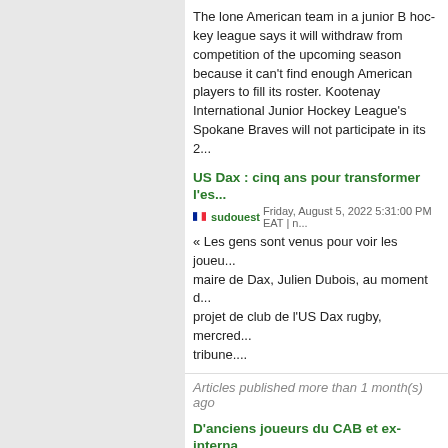The lone American team in a junior B hockey league says it will withdraw from competition of the upcoming season because it can't find enough American players to fill its roster. Kootenay International Junior Hockey League's Spokane Braves will not participate in its 2...
US Dax : cinq ans pour transformer l'es...
sudouest  Friday, August 5, 2022 5:31:00 PM EAT | ...
« Les gens sont venus pour voir les joueu... maire de Dax, Julien Dubois, au moment d... projet de club de l'US Dax rugby, mercred... tribune....
Articles published more than 1 month(s) ago
D'anciens joueurs du CAB et ex-interna... Courrent et sa famille pour une compé...
lamontagne  Sunday, July 10, 2022 7:43:00 PM EAT
La célèbre formule voulant que le rugby s... présente les uns pour les autres, a démon... au golf de Brive Planchetorte. Car pour le... Courrent et sa.......
Articles published more than 2 month(s) ago
US Dax : le staff et le groupe continuer...
sudouest  Monday, July 4, 2022 6:25:00 PM EAT | in...
Pour compléter le staff dacquois déjà com... Marc Del Maso pour la mêlée. Il avait Ru...